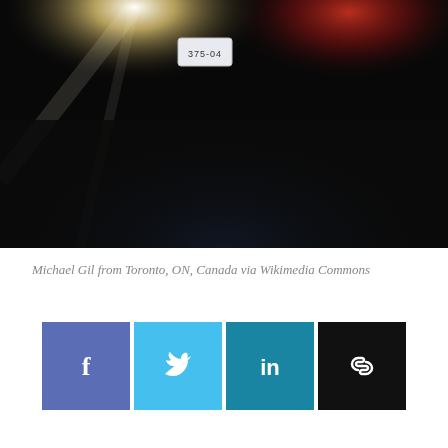[Figure (photo): Dark nighttime photo of the rear of a vehicle with brake/police lights glowing red and white. A license plate is faintly visible in the center.]
Michael Gil from Toronto, ON, Canada via Wikimedia Commons
[Figure (infographic): Row of four social share buttons: Facebook (blue-purple, f icon), Twitter (light blue, bird icon), LinkedIn (teal, in icon), Link/copy (black, chain link icon)]